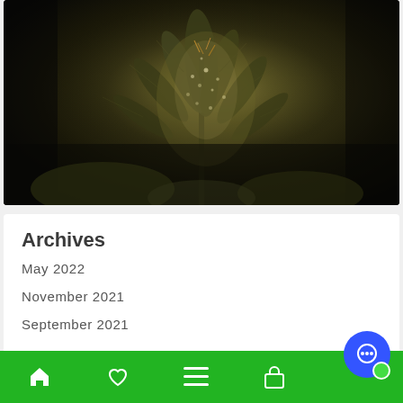[Figure (photo): Close-up macro photograph of a cannabis plant bud with detailed leaves and trichomes, in dark olive/brown tones]
Archives
May 2022
November 2021
September 2021
Categories
Home | Wishlist | Menu | Cart | Chat